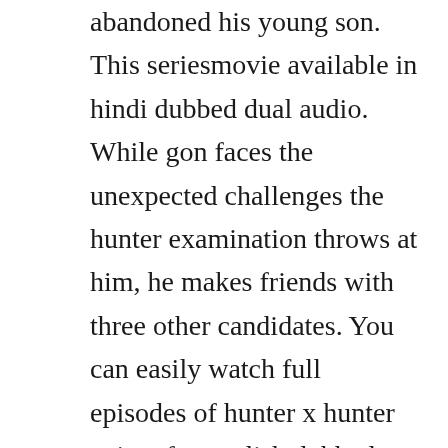abandoned his young son. This seriesmovie available in hindi dubbed dual audio. While gon faces the unexpected challenges the hunter examination throws at him, he makes friends with three other candidates. You can easily watch full episodes of hunter x hunter anime for english dubbed please click below. Other characters are played by the students of kyoto university of art and design department of character designing.

Various formats from default 480p to 720p high definition or even 1080p. Hunter x hunter 2011 episode 137 english dubbed at